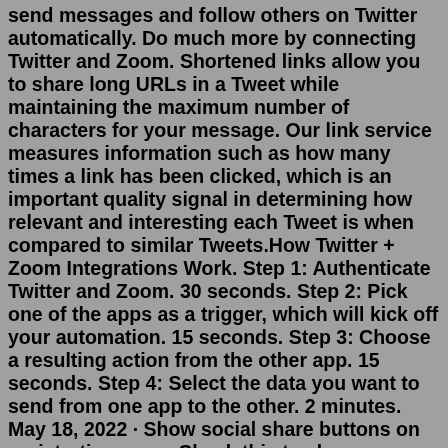send messages and follow others on Twitter automatically. Do much more by connecting Twitter and Zoom. Shortened links allow you to share long URLs in a Tweet while maintaining the maximum number of characters for your message. Our link service measures information such as how many times a link has been clicked, which is an important quality signal in determining how relevant and interesting each Tweet is when compared to similar Tweets.How Twitter + Zoom Integrations Work. Step 1: Authenticate Twitter and Zoom. 30 seconds. Step 2: Pick one of the apps as a trigger, which will kick off your automation. 15 seconds. Step 3: Choose a resulting action from the other app. 15 seconds. Step 4: Select the data you want to send from one app to the other. 2 minutes. May 18, 2022 · Show social share buttons on registration page: Check this to show Facebook, Twitter, LinkedIn, and email share buttons on your registration page for easy sharing. Enable Disclaimer: Allows you to add a customizable text at the bottom of the registration page for adding additional context.